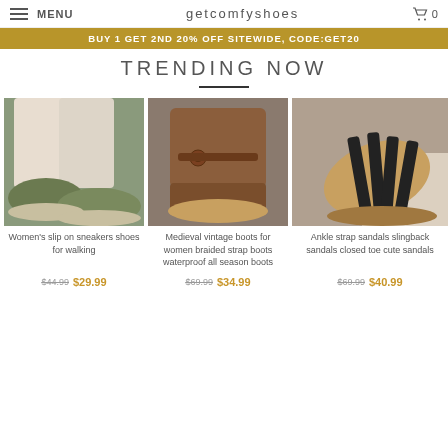MENU  GetcomfyShoes  0
BUY 1 GET 2ND 20% OFF SITEWIDE, CODE:GET20
TRENDING NOW
[Figure (photo): Green women's slip on sneakers worn on feet]
Women's slip on sneakers shoes for walking
$44.99  $29.99
[Figure (photo): Brown medieval vintage braided strap boots]
Medieval vintage boots for women braided strap boots waterproof all season boots
$69.99  $34.99
[Figure (photo): Black ankle strap slingback closed toe sandals]
Ankle strap sandals slingback sandals closed toe cute sandals
$69.99  $40.99